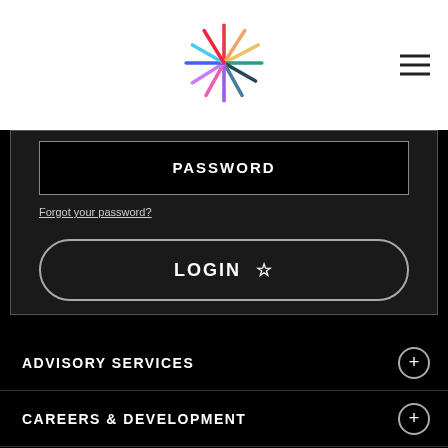[Figure (logo): Colorful starburst/asterisk logo with multicolored rays in white header]
PASSWORD
Forgot your password?
LOGIN ☆
ADVISORY SERVICES
CAREERS & DEVELOPMENT
EVENTS & AWARDS
MEMBERSHIPS
RESOURCES